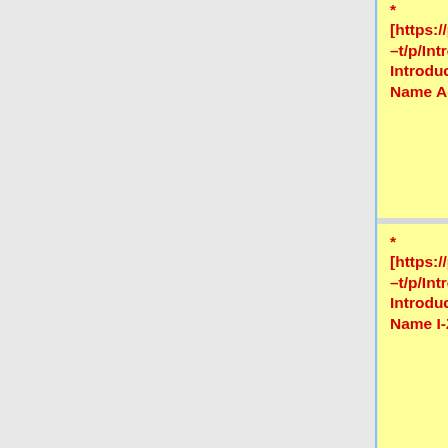* [https://pad.riseup.net/p/Intro_A-H Introductions - Last Name A-H]
* [https://pad.riseup.net/p/Intro_I-Z Introductions - Last Name I-Z]
* [https://docs.google.com/document/d/1AX94AXwj-MIOuDGMdQ1ugRmofDIKNJ1FXF8c44OuINl/edit Introductions - if you can't access the Rise-up Pad]
= Schedule for POSSE Stage 2 =
= Schedule for POSSE Stage 2 =